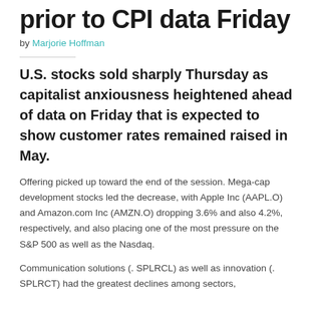prior to CPI data Friday
by Marjorie Hoffman
U.S. stocks sold sharply Thursday as capitalist anxiousness heightened ahead of data on Friday that is expected to show customer rates remained raised in May.
Offering picked up toward the end of the session. Mega-cap development stocks led the decrease, with Apple Inc (AAPL.O) and Amazon.com Inc (AMZN.O) dropping 3.6% and also 4.2%, respectively, and also placing one of the most pressure on the S&P 500 as well as the Nasdaq.
Communication solutions (. SPLRCL) as well as innovation (. SPLRCT) had the greatest declines among sectors,